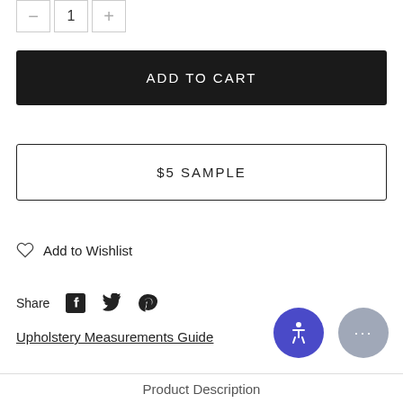[Figure (other): Quantity selector with minus, 1, and plus buttons]
ADD TO CART
$5 SAMPLE
Add to Wishlist
Share
[Figure (other): Facebook, Twitter, and Pinterest social share icons]
Upholstery Measurements Guide
[Figure (other): Accessibility (wheelchair) icon button in purple circle and chat bubble button in gray circle]
Product Description